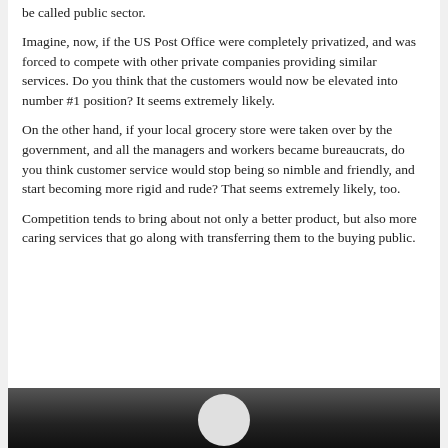be called public sector.
Imagine, now, if the US Post Office were completely privatized, and was forced to compete with other private companies providing similar services. Do you think that the customers would now be elevated into number #1 position? It seems extremely likely.
On the other hand, if your local grocery store were taken over by the government, and all the managers and workers became bureaucrats, do you think customer service would stop being so nimble and friendly, and start becoming more rigid and rude? That seems extremely likely, too.
Competition tends to bring about not only a better product, but also more caring services that go along with transferring them to the buying public.
[Figure (photo): Partial photo at bottom of page showing a person in dark background, only the top of the head/shoulders visible.]